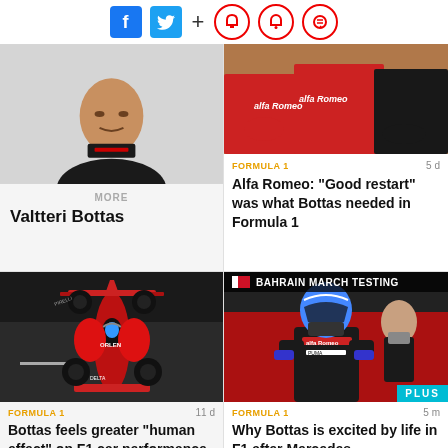[Figure (screenshot): Social media share bar with Facebook, Twitter, plus, bookmark, bell, and comment icons]
[Figure (photo): Valtteri Bottas driver profile photo in racing suit, gray background]
MORE
Valtteri Bottas
[Figure (photo): Alfa Romeo team members wearing branded kit]
FORMULA 1
5 d
Alfa Romeo: "Good restart" was what Bottas needed in Formula 1
[Figure (photo): Alfa Romeo F1 car seen from above on track, red and white livery]
FORMULA 1
11 d
Bottas feels greater "human effect" on F1 car performance at Alfa Romeo
[Figure (photo): Valtteri Bottas in Alfa Romeo racing suit at Bahrain March Testing, PLUS badge visible]
FORMULA 1
5 m
Why Bottas is excited by life in F1 after Mercedes